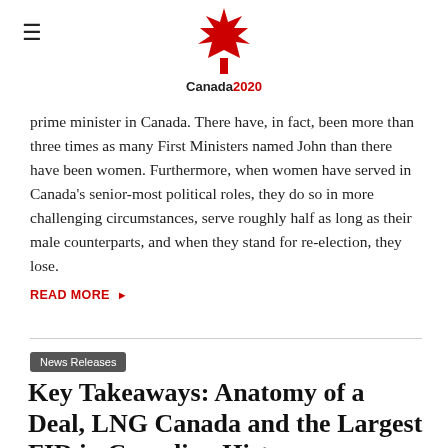Canada2020 logo with maple leaf
prime minister in Canada. There have, in fact, been more than three times as many First Ministers named John than there have been women. Furthermore, when women have served in Canada's senior-most political roles, they do so in more challenging circumstances, serve roughly half as long as their male counterparts, and when they stand for re-election, they lose.
READ MORE ▶
News Releases
Key Takeaways: Anatomy of a Deal, LNG Canada and the Largest FID in Canadian History